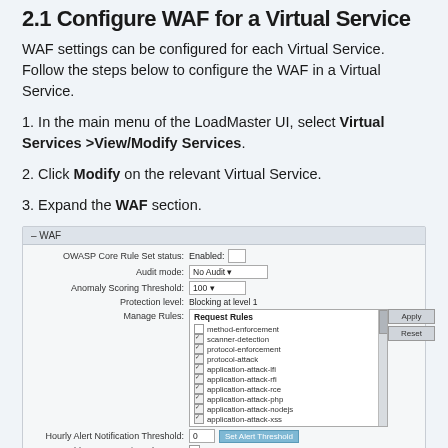2.1 Configure WAF for a Virtual Service
WAF settings can be configured for each Virtual Service. Follow the steps below to configure the WAF in a Virtual Service.
1. In the main menu of the LoadMaster UI, select Virtual Services >View/Modify Services.
2. Click Modify on the relevant Virtual Service.
3. Expand the WAF section.
[Figure (screenshot): Screenshot of the WAF configuration panel showing fields: OWASP Core Rule Set status (Enabled), Audit mode (No Audit), Anomaly Scoring Threshold (100), Protection level (Blocking at level 1), Manage Rules listbox with request rules (method-enforcement unchecked, scanner-detection checked, protocol-enforcement checked, protocol-attack checked, application-attack-lfi checked, application-attack-rfi checked, application-attack-rce checked, application-attack-php checked, application-attack-nodejs checked, application-attack-xss checked), Apply and Reset buttons, Hourly Alert Notification Threshold field with value 0 and Set Alert Threshold button, Enable IP Reputation Changes checkbox.]